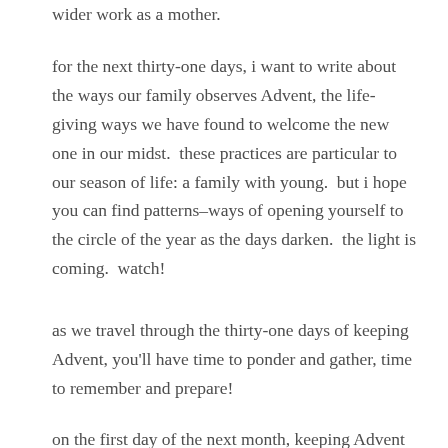wider work as a mother.
for the next thirty-one days, i want to write about the ways our family observes Advent, the life-giving ways we have found to welcome the new one in our midst.  these practices are particular to our season of life: a family with young.  but i hope you can find patterns–ways of opening yourself to the circle of the year as the days darken.  the light is coming.  watch!
as we travel through the thirty-one days of keeping Advent, you'll have time to ponder and gather, time to remember and prepare!
on the first day of the next month, keeping Advent